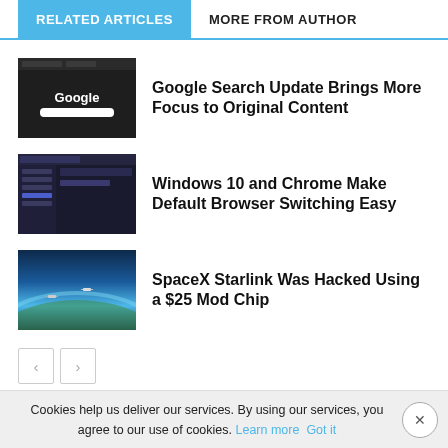RELATED ARTICLES | MORE FROM AUTHOR
[Figure (screenshot): Dark Google search interface screenshot]
Google Search Update Brings More Focus to Original Content
[Figure (screenshot): Windows 10 dark settings/browser interface screenshot]
Windows 10 and Chrome Make Default Browser Switching Easy
[Figure (photo): SpaceX Starlink satellites in orbit above Earth]
SpaceX Starlink Was Hacked Using a $25 Mod Chip
Cookies help us deliver our services. By using our services, you agree to our use of cookies. Learn more  Got it